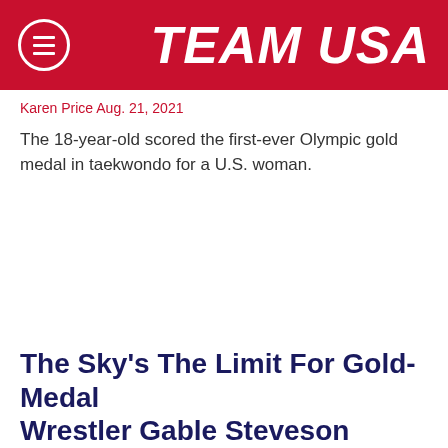TEAM USA
Karen Price Aug. 21, 2021
The 18-year-old scored the first-ever Olympic gold medal in taekwondo for a U.S. woman.
The Sky's The Limit For Gold-Medal Wrestler Gable Steveson